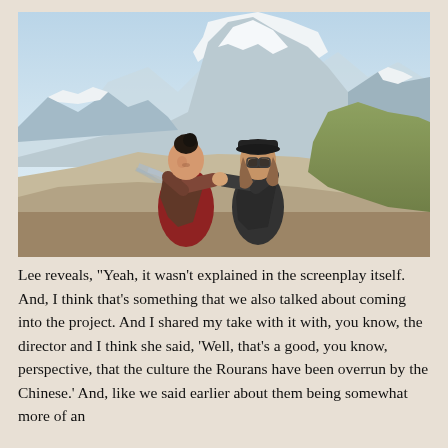[Figure (photo): Two people standing outdoors with snow-capped mountains and a braided river valley in the background. One person is wearing a traditional red and brown costume with hair pinned up; the other is wearing a black cap and dark jacket. They appear to be in conversation, gesturing toward each other.]
Lee reveals, "Yeah, it wasn't explained in the screenplay itself. And, I think that's something that we also talked about coming into the project. And I shared my take with it with, you know, the director and I think she said, 'Well, that's a good, you know, perspective, that the culture the Rourans have been overrun by the Chinese.' And, like we said earlier about them being somewhat more of an